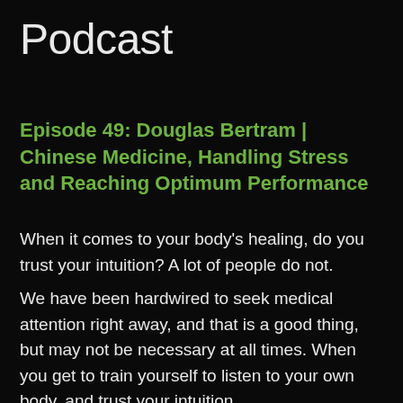Podcast
Episode 49: Douglas Bertram | Chinese Medicine, Handling Stress and Reaching Optimum Performance
When it comes to your body's healing, do you trust your intuition? A lot of people do not.
We have been hardwired to seek medical attention right away, and that is a good thing, but may not be necessary at all times. When you get to train yourself to listen to your own body, and trust your intuition...